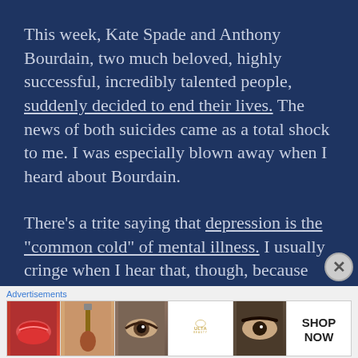This week, Kate Spade and Anthony Bourdain, two much beloved, highly successful, incredibly talented people, suddenly decided to end their lives.  The news of both suicides came as a total shock to me.  I was especially blown away when I heard about Bourdain.
There’s a trite saying that depression is the “common cold” of mental illness.  I usually cringe when I hear that, though, because
Advertisements
[Figure (photo): An advertisement banner for ULTA beauty featuring close-up images of lips with red lipstick, a makeup brush, an eye, the ULTA logo, dark brows and eyes, and a SHOP NOW call to action.]